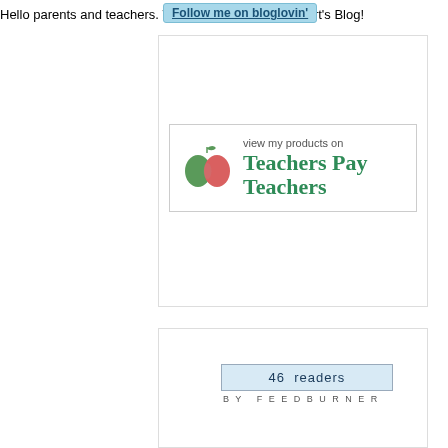Hello parents and teachers. Welcome to Teaching Heart's Blog!
[Figure (logo): Teachers Pay Teachers logo badge with apple icon and green text]
[Figure (infographic): FeedBurner reader count widget showing 46 readers BY FEEDBURNER]
ADD OUR BUTTON!
[Figure (illustration): Two cartoon children at a computer showing Teaching Heart button]